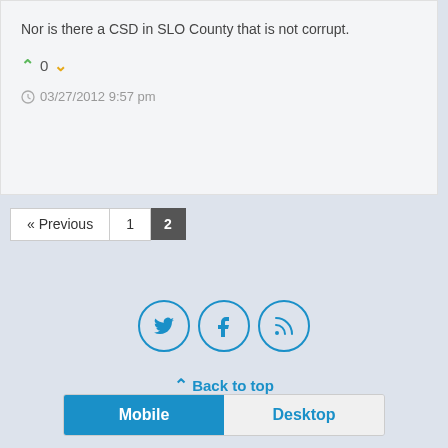Nor is there a CSD in SLO County that is not corrupt.
▲ 0 ▼
03/27/2012 9:57 pm
« Previous  1  2
[Figure (other): Social media icon buttons in circles: Twitter bird, Facebook f, RSS feed icon]
⋀ Back to top
Mobile  Desktop